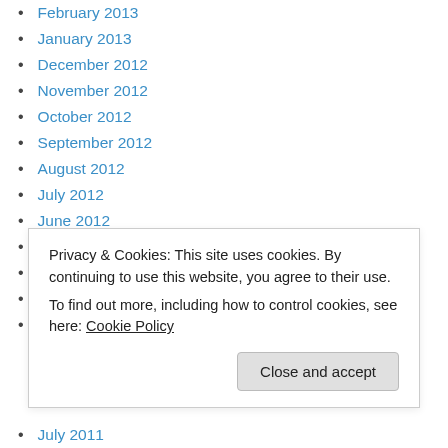February 2013
January 2013
December 2012
November 2012
October 2012
September 2012
August 2012
July 2012
June 2012
May 2012
April 2012
March 2012
February 2012
Privacy & Cookies: This site uses cookies. By continuing to use this website, you agree to their use. To find out more, including how to control cookies, see here: Cookie Policy
July 2011